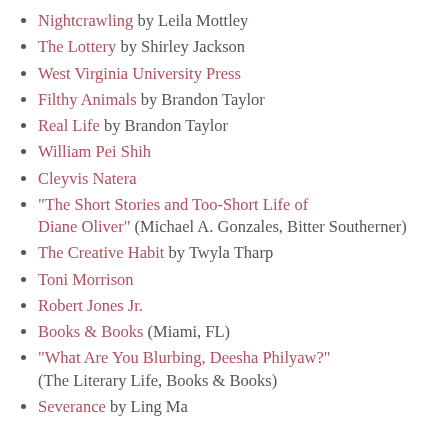Nightcrawling by Leila Mottley
The Lottery by Shirley Jackson
West Virginia University Press
Filthy Animals by Brandon Taylor
Real Life by Brandon Taylor
William Pei Shih
Cleyvis Natera
"The Short Stories and Too-Short Life of Diane Oliver" (Michael A. Gonzales, Bitter Southerner)
The Creative Habit by Twyla Tharp
Toni Morrison
Robert Jones Jr.
Books & Books (Miami, FL)
"What Are You Blurbing, Deesha Philyaw?" (The Literary Life, Books & Books)
Severance by Ling Ma